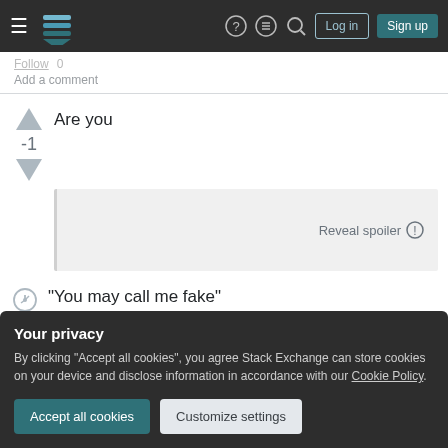Stack Exchange navigation bar with Log in and Sign up buttons
Add a comment
Are you
Reveal spoiler
"You may call me fake"
Reveal spoiler
Your privacy
By clicking "Accept all cookies", you agree Stack Exchange can store cookies on your device and disclose information in accordance with our Cookie Policy.
Accept all cookies
Customize settings
I keep you awake